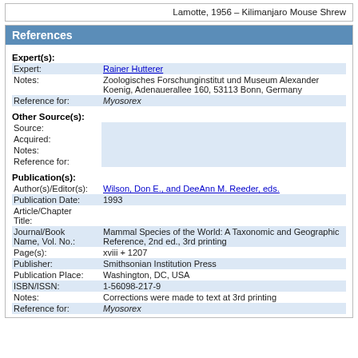Lamotte, 1956 – Kilimanjaro Mouse Shrew
References
Expert(s):
| Field | Value |
| --- | --- |
| Expert: | Rainer Hutterer |
| Notes: | Zoologisches Forschunginstitut und Museum Alexander Koenig, Adenauerallee 160, 53113 Bonn, Germany |
| Reference for: | Myosorex |
Other Source(s):
| Field | Value |
| --- | --- |
| Source: |  |
| Acquired: |  |
| Notes: |  |
| Reference for: |  |
Publication(s):
| Field | Value |
| --- | --- |
| Author(s)/Editor(s): | Wilson, Don E., and DeeAnn M. Reeder, eds. |
| Publication Date: | 1993 |
| Article/Chapter Title: |  |
| Journal/Book Name, Vol. No.: | Mammal Species of the World: A Taxonomic and Geographic Reference, 2nd ed., 3rd printing |
| Page(s): | xviii + 1207 |
| Publisher: | Smithsonian Institution Press |
| Publication Place: | Washington, DC, USA |
| ISBN/ISSN: | 1-56098-217-9 |
| Notes: | Corrections were made to text at 3rd printing |
| Reference for: | Myosorex |